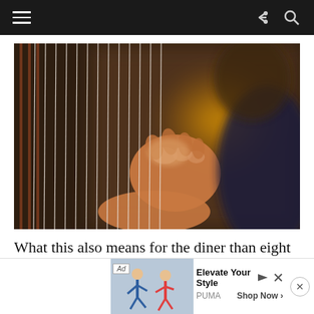Navigation bar with hamburger menu, share icon, and search icon
[Figure (photo): Close-up photo of a person's hand plucking or touching strings of a harp or similar stringed instrument. The strings are vertical and the person wears a dark top. A yellow object is visible blurred in the background.]
What this also means for the diner than eight well paired courses is their whopping price tag of $100,000. If you could the
[Figure (other): Advertisement banner: Ad badge, thumbnail image of two people dancing, Elevate Your Style - PUMA Shop Now with play and close icons]